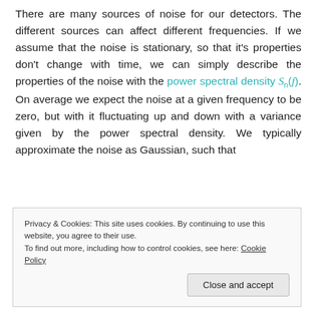There are many sources of noise for our detectors. The different sources can affect different frequencies. If we assume that the noise is stationary, so that it's properties don't change with time, we can simply describe the properties of the noise with the power spectral density S_n(f). On average we expect the noise at a given frequency to be zero, but with it fluctuating up and down with a variance given by the power spectral density. We typically approximate the noise as Gaussian, such that
Privacy & Cookies: This site uses cookies. By continuing to use this website, you agree to their use.
To find out more, including how to control cookies, see here: Cookie Policy
[Close and accept]